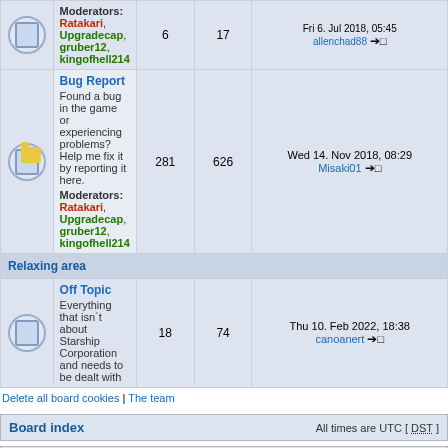|  | Forum | Topics | Posts | Last post |
| --- | --- | --- | --- | --- |
| [icon] | Bug Report
Found a bug in the game or experiencing problems? Help me fix it by reporting it here.
Moderators: Ratakari, Upgradecap, gruber12, kingofhell214 | 281 | 626 | Wed 14. Nov 2018, 08:29
Misaki01 →□ |
| [section] | Relaxing area |  |  |  |
| [icon] | Off Topic
Everything that isn't about Starship Corporation and needs to be dealt with | 18 | 74 | Thu 10. Feb 2022, 18:38
canoanert →□ |
Delete all board cookies | The team
Board index    All times are UTC [ DST ]
Who is online
In total there are 4 users online :: 0 registered, 0 hidden and 4